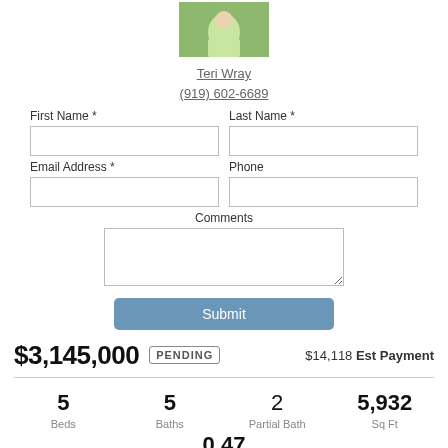[Figure (photo): Agent photo of Teri Wray, woman in green top with watch]
Teri Wray
(919) 602-6689
First Name *
Last Name *
Email Address *
Phone
Comments
Submit
$3,145,000   PENDING   $14,118 Est Payment
5 Beds   5 Baths   2 Partial Bath   5,932 Sq Ft
0.47